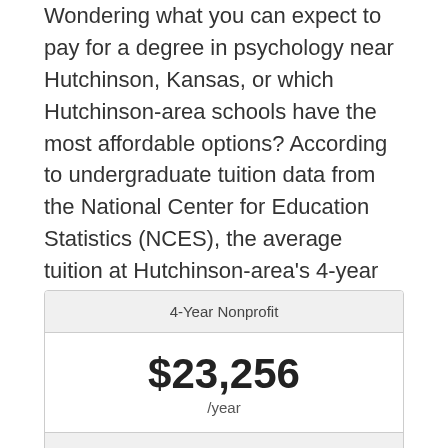Wondering what you can expect to pay for a degree in psychology near Hutchinson, Kansas, or which Hutchinson-area schools have the most affordable options? According to undergraduate tuition data from the National Center for Education Statistics (NCES), the average tuition at Hutchinson-area's 4-year nonprofit schools is $23,256. The average tuition at 4-year for-profit schools near Hutchinson is N/A, while tuition at 2-year online colleges and universities is N/A.
| Category | Cost |
| --- | --- |
| 4-Year Nonprofit | $23,256 /year |
| 4-Year For-Profit |  |